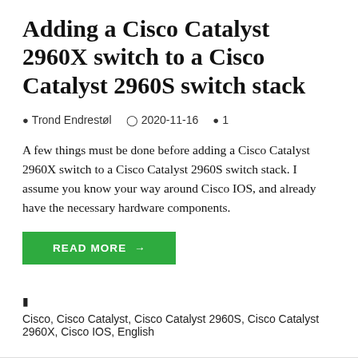Adding a Cisco Catalyst 2960X switch to a Cisco Catalyst 2960S switch stack
Trond Endrestøl   2020-11-16   1
A few things must be done before adding a Cisco Catalyst 2960X switch to a Cisco Catalyst 2960S switch stack. I assume you know your way around Cisco IOS, and already have the necessary hardware components.
READ MORE →
Cisco, Cisco Catalyst, Cisco Catalyst 2960S, Cisco Catalyst 2960X, Cisco IOS, English